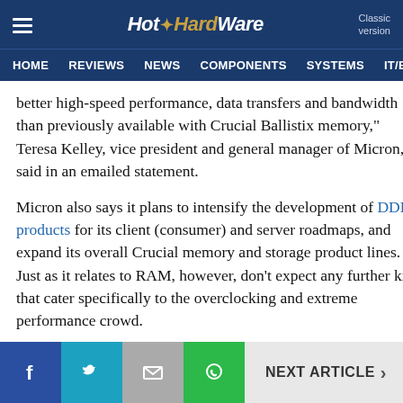HotHardware — HOME | REVIEWS | NEWS | COMPONENTS | SYSTEMS | IT/EN
better high-speed performance, data transfers and bandwidth than previously available with Crucial Ballistix memory," Teresa Kelley, vice president and general manager of Micron, said in an emailed statement.
Micron also says it plans to intensify the development of DDR5 products for its client (consumer) and server roadmaps, and expand its overall Crucial memory and storage product lines. Just as it relates to RAM, however, don't expect any further kits that cater specifically to the overclocking and extreme performance crowd.
NEXT ARTICLE >